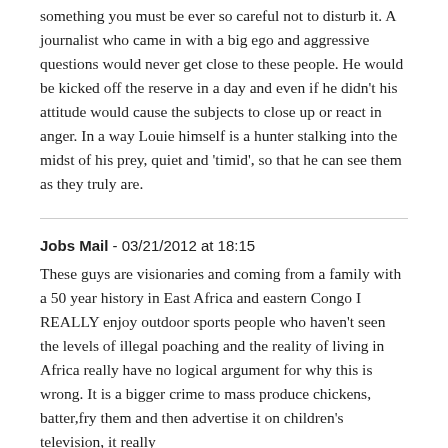something you must be ever so careful not to disturb it. A journalist who came in with a big ego and aggressive questions would never get close to these people. He would be kicked off the reserve in a day and even if he didn't his attitude would cause the subjects to close up or react in anger. In a way Louie himself is a hunter stalking into the midst of his prey, quiet and 'timid', so that he can see them as they truly are.
Jobs Mail - 03/21/2012 at 18:15
These guys are visionaries and coming from a family with a 50 year history in East Africa and eastern Congo I REALLY enjoy outdoor sports people who haven't seen the levels of illegal poaching and the reality of living in Africa really have no logical argument for why this is wrong. It is a bigger crime to mass produce chickens, batter,fry them and then advertise it on children's television, it really